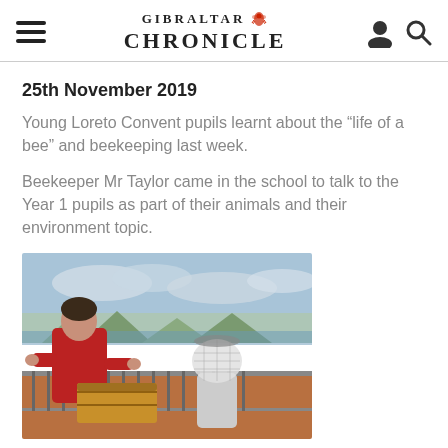GIBRALTAR CHRONICLE
25th November 2019
Young Loreto Convent pupils learnt about the “life of a bee” and beekeeping last week.
Beekeeper Mr Taylor came in the school to talk to the Year 1 pupils as part of their animals and their environment topic.
[Figure (photo): A man in a red jacket bending over a wooden beehive on a balcony, with a child in a beekeeper’s veil beside him. Coastal town and mountains visible in background.]